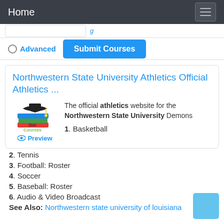Home
Advanced   Submit Courses
Northwestern State University Athletics Official Athletics ...
The official athletics website for the Northwestern State University Demons
[Figure (logo): Our Courses logo with graduation cap and books]
Preview
1. Basketball
2. Tennis
3. Football: Roster
4. Soccer
5. Baseball: Roster
6. Audio & Video Broadcast
See Also: Northwestern state university of louisiana